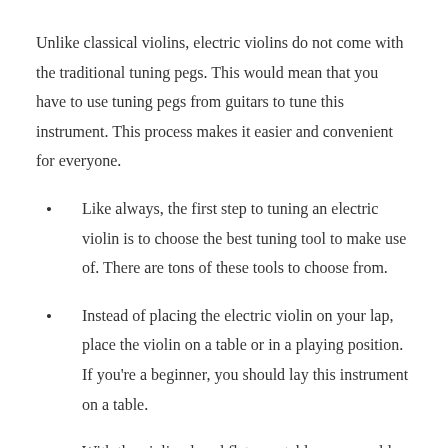Unlike classical violins, electric violins do not come with the traditional tuning pegs. This would mean that you have to use tuning pegs from guitars to tune this instrument. This process makes it easier and convenient for everyone.
Like always, the first step to tuning an electric violin is to choose the best tuning tool to make use of. There are tons of these tools to choose from.
Instead of placing the electric violin on your lap, place the violin on a table or in a playing position. If you're a beginner, you should lay this instrument on a table.
With the violin placed flat on a table, you would have to identify the desired or target note by turning the guitar tuner